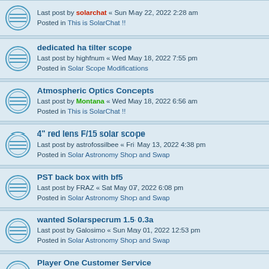Last post by solarchat « Sun May 22, 2022 2:28 am
Posted in This is SolarChat !!
dedicated ha tilter scope
Last post by highfnum « Wed May 18, 2022 7:55 pm
Posted in Solar Scope Modifications
Atmospheric Optics Concepts
Last post by Montana « Wed May 18, 2022 6:56 am
Posted in This is SolarChat !!
4" red lens F/15 solar scope
Last post by astrofossilbee « Fri May 13, 2022 4:38 pm
Posted in Solar Astronomy Shop and Swap
PST back box with bf5
Last post by FRAZ « Sat May 07, 2022 6:08 pm
Posted in Solar Astronomy Shop and Swap
wanted Solarspecrum 1.5 0.3a
Last post by Galosimo « Sun May 01, 2022 12:53 pm
Posted in Solar Astronomy Shop and Swap
Player One Customer Service
Last post by Bill_C « Sat Apr 23, 2022 2:29 am
Posted in Commercial Solar Filters/Cameras/Hardware
ImPPG version 0.6.5
Last post by GreatAttractor « Sat Apr 16, 2022 4:33 pm
Posted in Solar Software
Noticed the euphemism "frankenscope" and felt compelled...
Last post by doole « Thu Apr 14, 2022 4:04 pm